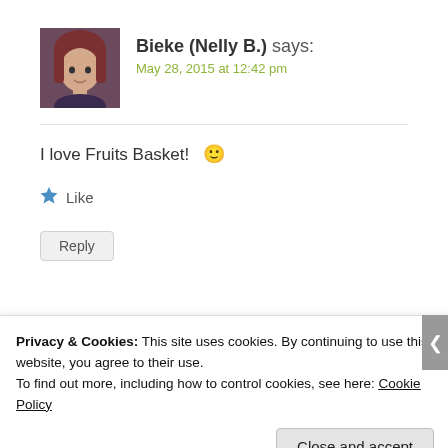Bieke (Nelly B.) says: May 28, 2015 at 12:42 pm
I love Fruits Basket! 🙂
Like
Reply
Privacy & Cookies: This site uses cookies. By continuing to use this website, you agree to their use.
To find out more, including how to control cookies, see here: Cookie Policy
Close and accept